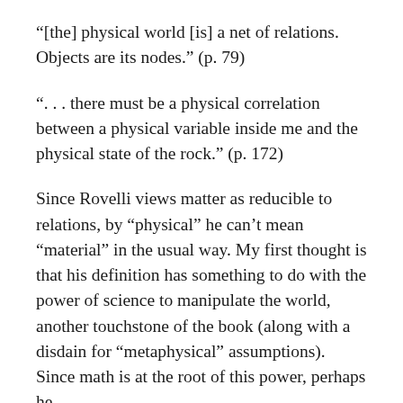“[the] physical world [is] a net of relations. Objects are its nodes.” (p. 79)
“. . . there must be a physical correlation between a physical variable inside me and the physical state of the rock.” (p. 172)
Since Rovelli views matter as reducible to relations, by “physical” he can’t mean “material” in the usual way. My first thought is that his definition has something to do with the power of science to manipulate the world, another touchstone of the book (along with a disdain for “metaphysical” assumptions). Since math is at the root of this power, perhaps he